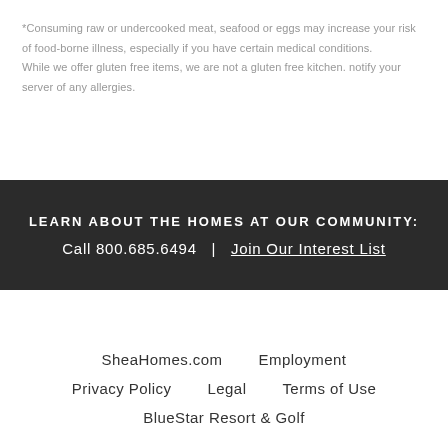*Consuming raw or undercooked meat, seafood or eggs may increase your risk of food-borne illness, especially if you have certain medical conditions. While we offer gluten free items, we are not a gluten free kitchen. notify your server of any allergies.
LEARN ABOUT THE HOMES AT OUR COMMUNITY:
Call 800.685.6494  |  Join Our Interest List
SheaHomes.com   Employment   Privacy Policy   Legal   Terms of Use   BlueStar Resort & Golf